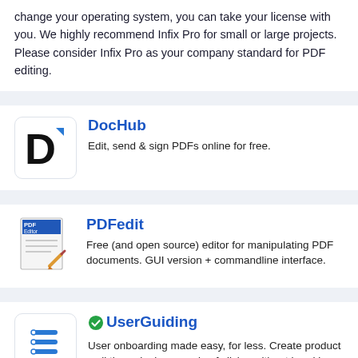change your operating system, you can take your license with you. We highly recommend Infix Pro for small or large projects. Please consider Infix Pro as your company standard for PDF editing.
DocHub
Edit, send & sign PDFs online for free.
PDFedit
Free (and open source) editor for manipulating PDF documents. GUI version + commandline interface.
UserGuiding
User onboarding made easy, for less. Create product walkthroughs in a couple of clicks, without breaking the